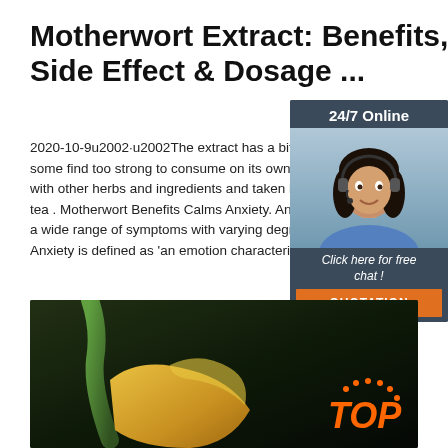Motherwort Extract: Benefits, Side Effect & Dosage ...
2020-10-9u2002·u2002The extract has a bitter fl some find too strong to consume on its own. It ca with other herbs and ingredients and taken in ca tea . Motherwort Benefits Calms Anxiety. Anxiety a wide range of symptoms with varying degrees Anxiety is defined as 'an emotion characterized b
[Figure (other): Green button labeled 'Get Price']
[Figure (infographic): Side widget with '24/7 Online' header, woman with headset photo, 'Click here for free chat!' text, and orange QUOTATION button]
[Figure (photo): Dark background photo showing a yellow/golden plant or root with green stem, with TOP logo in orange bottom right]